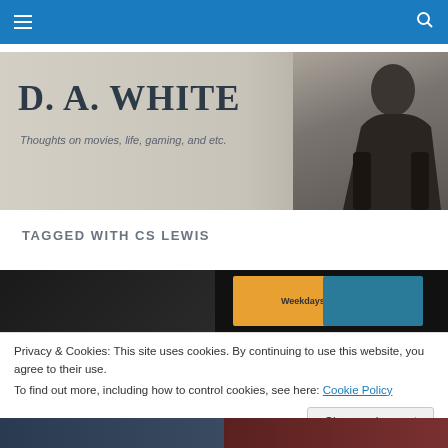D. A. WHITE – Navigation bar with hamburger menu and search icon
[Figure (photo): Website header banner for D. A. White blog showing site title 'D. A. WHITE', subtitle 'Thoughts on movies, life, gaming, and etc.' with a photo of a young man in a black jacket on the right side against a beige/grey background]
TAGGED WITH CS LEWIS
[Figure (screenshot): Dark article thumbnail image showing partial text 'Weekdays' and orange/teal colored graphic elements]
Privacy & Cookies: This site uses cookies. By continuing to use this website, you agree to their use.
To find out more, including how to control cookies, see here: Cookie Policy
[Figure (photo): Bottom strip showing two article thumbnail images - left side in dark blue tones, right side in reddish tones]